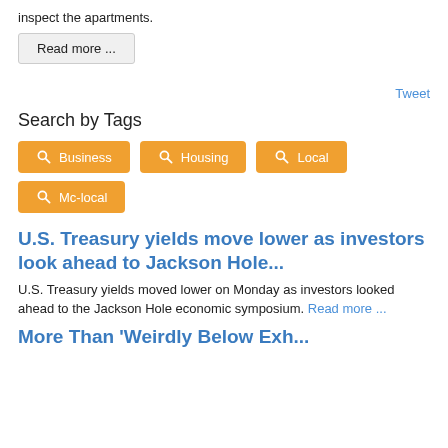inspect the apartments.
Read more ...
Tweet
Search by Tags
Business
Housing
Local
Mc-local
U.S. Treasury yields move lower as investors look ahead to Jackson Hole...
U.S. Treasury yields moved lower on Monday as investors looked ahead to the Jackson Hole economic symposium. Read more ...
More Than 'Weirdly Below Exh...